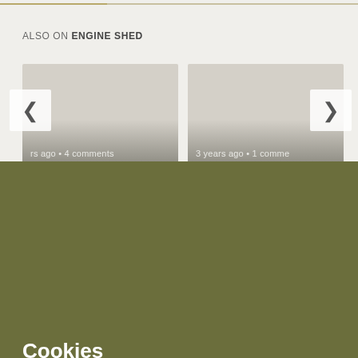ALSO ON ENGINE SHED
[Figure (screenshot): Two article cards in a horizontal carousel: left card shows 'rs ago • 4 comments / Exploring', right card shows '3 years ago • 1 comme / The traditional'. Navigation arrows on left and right sides.]
Cookies
We use cookies to improve your experience on our site and show you personalised advertising.
Find out more from our privacy policy and cookie policy.
ACCEPT ALL AND CLOSE
Your options